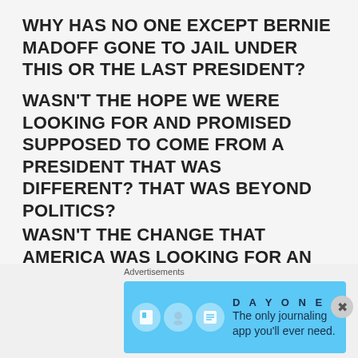WHY HAS NO ONE EXCEPT BERNIE MADOFF GONE TO JAIL UNDER THIS OR THE LAST PRESIDENT?
WASN'T THE HOPE WE WERE LOOKING FOR AND PROMISED SUPPOSED TO COME FROM A PRESIDENT THAT WAS DIFFERENT? THAT WAS BEYOND POLITICS?
WASN'T THE CHANGE THAT AMERICA WAS LOOKING FOR AN END TO CRONY CAPITALISM?
WERE YOU WRONG ABOUT THIS PRESIDENT LAST TIME ELECTION?
HOW ARE YOU SURE THIS TIME?
[Figure (screenshot): Advertisement banner for Day One journaling app with blue background, app icons, and tagline 'The only journaling app you'll ever need.']